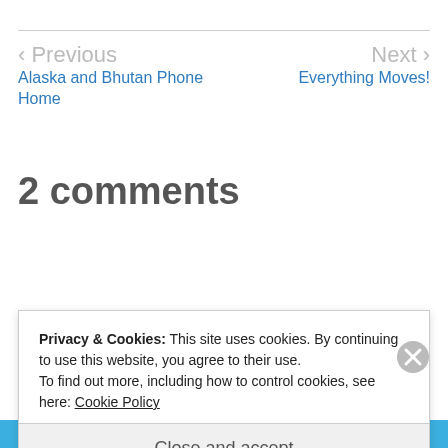< Previous
Alaska and Bhutan Phone Home
Next >
Everything Moves!
2 comments
[Figure (logo): Colorful pinwheel/avatar icon for commenter Karen Chace]
Karen Chace
Privacy & Cookies: This site uses cookies. By continuing to use this website, you agree to their use.
To find out more, including how to control cookies, see here: Cookie Policy
Close and accept